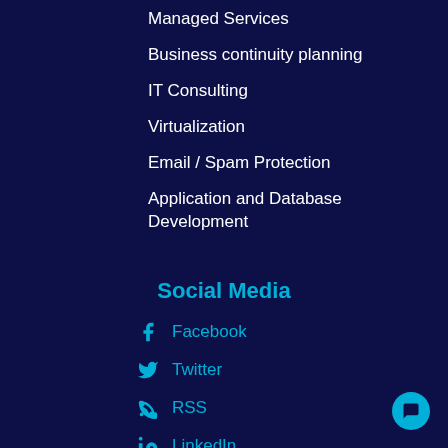Managed Services
Business continuity planning
IT Consulting
Virtualization
Email / Spam Protection
Application and Database Development
Social Media
Facebook
Twitter
RSS
LinkedIn